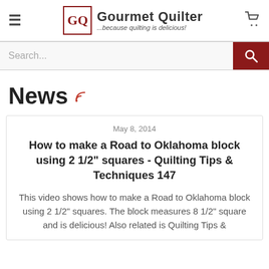Gourmet Quilter — ...because quilting is delicious!
Search...
News
May 8, 2014
How to make a Road to Oklahoma block using 2 1/2" squares - Quilting Tips & Techniques 147
This video shows how to make a Road to Oklahoma block using 2 1/2" squares. The block measures 8 1/2" square and is delicious! Also related is Quilting Tips &